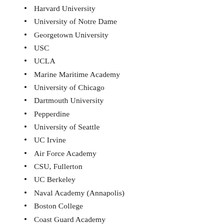Harvard University
University of Notre Dame
Georgetown University
USC
UCLA
Marine Maritime Academy
University of Chicago
Dartmouth University
Pepperdine
University of Seattle
UC Irvine
Air Force Academy
CSU, Fullerton
UC Berkeley
Naval Academy (Annapolis)
Boston College
Coast Guard Academy
Tecnologico de Monterrey Mexico